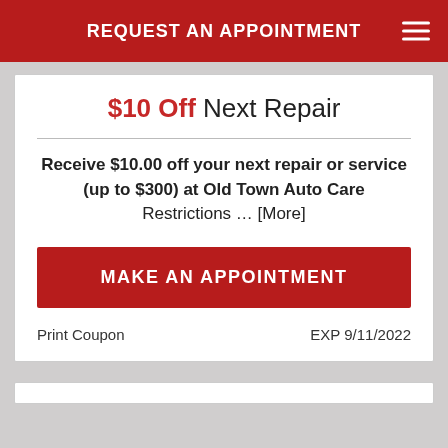REQUEST AN APPOINTMENT
$10 Off Next Repair
Receive $10.00 off your next repair or service (up to $300) at Old Town Auto Care Restrictions … [More]
MAKE AN APPOINTMENT
Print Coupon    EXP 9/11/2022